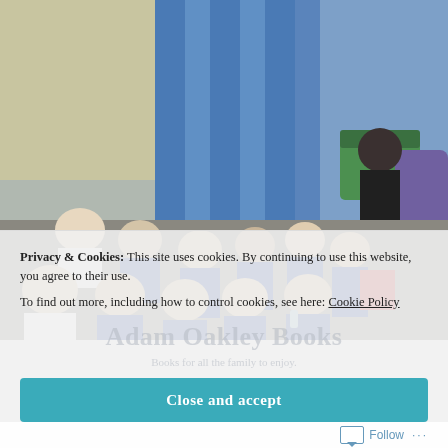[Figure (photo): A teacher or author sits on a yellow beanbag chair reading to a group of children in blue school uniforms seated on the floor in a school library or reading room with green sofas and blue curtains in the background.]
Privacy & Cookies: This site uses cookies. By continuing to use this website, you agree to their use.
To find out more, including how to control cookies, see here: Cookie Policy
Adam Oakley Books
Books for all the family to enjoy.
Close and accept
Follow